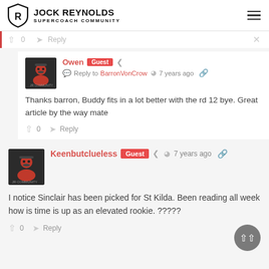JOCK REYNOLDS SUPERCOACH COMMUNITY
Owen Guest  Reply to BarronVonCrow  7 years ago
Thanks barron, Buddy fits in a lot better with the rd 12 bye. Great article by the way mate
0  Reply
Keenbutclueless Guest  7 years ago
I notice Sinclair has been picked for St Kilda. Been reading all week how is time is up as an elevated rookie. ?????
0  Reply